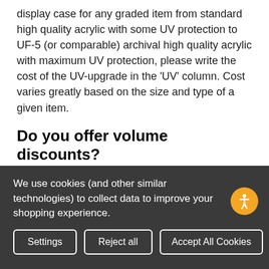display case for any graded item from standard high quality acrylic with some UV protection to UF-5 (or comparable) archival high quality acrylic with maximum UV protection, please write the cost of the UV-upgrade in the 'UV' column. Cost varies greatly based on the size and type of a given item.
Do you offer volume discounts?
We do not offer volume discounts. We offer discounts through our membership program.
What is the GAS tier?
We use cookies (and other similar technologies) to collect data to improve your shopping experience.